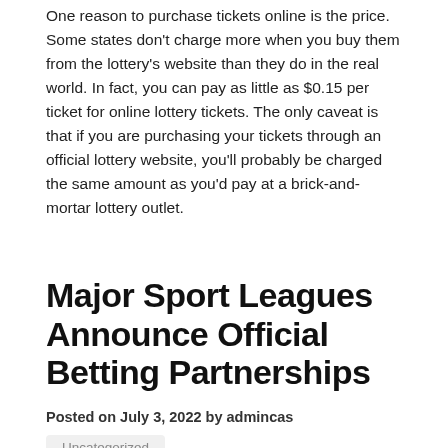One reason to purchase tickets online is the price. Some states don't charge more when you buy them from the lottery's website than they do in the real world. In fact, you can pay as little as $0.15 per ticket for online lottery tickets. The only caveat is that if you are purchasing your tickets through an official lottery website, you'll probably be charged the same amount as you'd pay at a brick-and-mortar lottery outlet.
Major Sport Leagues Announce Official Betting Partnerships
Posted on July 3, 2022 by admincas
Uncategorized
The NFL is the latest major sport league to announce official